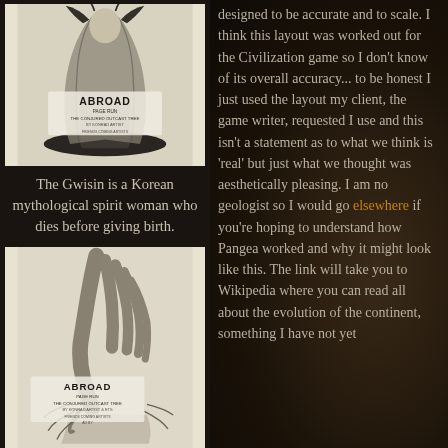[Figure (illustration): Grayscale illustration of the Gwisin, a Korean mythological spirit woman figure on a dark base, with text overlay showing 'ABROAD' and other text.]
The Gwisin is a Korean mythological spirit woman who dies before giving birth.
[Figure (illustration): Grayscale illustration of a large claw or creature foot/hand with ABROAD text overlay and fine print.]
designed to be accurate and to scale. I think this layout was worked out for the Civilization game so I don't know of its overall accuracy... to be honest I just used the layout my client, the game writer, requested I use and this isn't a statement as to what we think is 'real' but just what we thought was aesthetically pleasing. I am no geologist so I would go elsewhere if you're hoping to understand how Pangea worked and why it might look like this. The link will take you to Wikipedia where you can read all about the evolution of the continent, something I have not yet